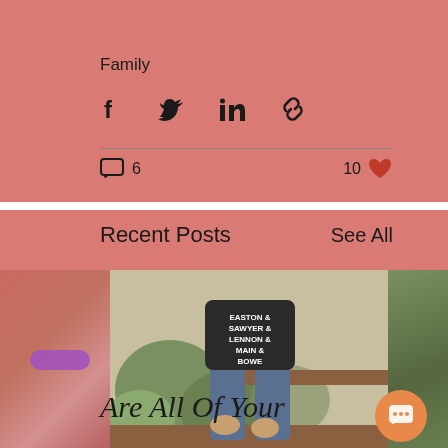Family
[Figure (infographic): Social share icons: Facebook, Twitter, LinkedIn, link/chain icon]
6 comments, 10 likes
Recent Posts
See All
[Figure (photo): Left partial photo showing arm with purple bracelet]
[Figure (photo): Center photo of person crouching in garden wearing dark shirt with text: EASTON & SAWYER & LENNON & MAIN & BOWE]
[Figure (photo): Right partial photo showing green foliage/bushes]
Are All Of Your